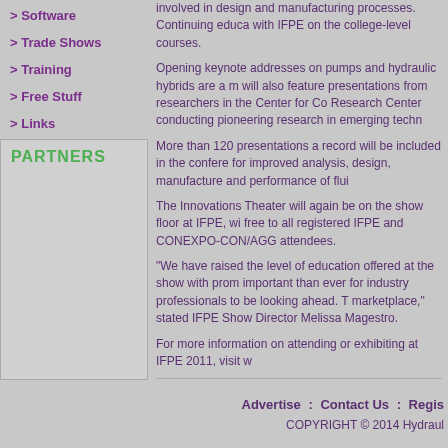> Software
> Trade Shows
> Training
> Free Stuff
> Links
PARTNERS
involved in design and manufacturing processes. Continuing educa with IFPE on the college-level courses.
Opening keynote addresses on pumps and hydraulic hybrids are a m will also feature presentations from researchers in the Center for Co Research Center conducting pioneering research in emerging techn
More than 120 presentations a record will be included in the confere for improved analysis, design, manufacture and performance of flui
The Innovations Theater will again be on the show floor at IFPE, wi free to all registered IFPE and CONEXPO-CON/AGG attendees.
"We have raised the level of education offered at the show with prom important than ever for industry professionals to be looking ahead. T marketplace," stated IFPE Show Director Melissa Magestro.
For more information on attending or exhibiting at IFPE 2011, visit w
<- Back to Press Releases
Advertise  :  Contact Us  :  Regis
COPYRIGHT © 2014 Hydraul